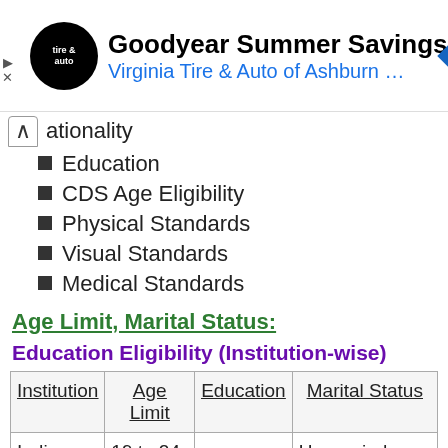[Figure (other): Advertisement banner for Goodyear Summer Savings - Virginia Tire & Auto of Ashburn with logo and navigation icon]
Nationality
Education
CDS Age Eligibility
Physical Standards
Visual Standards
Medical Standards
Age Limit, Marital Status:
Education Eligibility (Institution-wise)
| Institution | Age Limit | Education | Marital Status |
| --- | --- | --- | --- |
| Indian | 19 to 24 |  | Unmarried male |